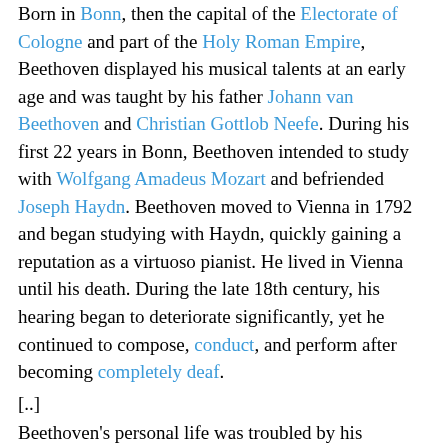Born in Bonn, then the capital of the Electorate of Cologne and part of the Holy Roman Empire, Beethoven displayed his musical talents at an early age and was taught by his father Johann van Beethoven and Christian Gottlob Neefe. During his first 22 years in Bonn, Beethoven intended to study with Wolfgang Amadeus Mozart and befriended Joseph Haydn. Beethoven moved to Vienna in 1792 and began studying with Haydn, quickly gaining a reputation as a virtuoso pianist. He lived in Vienna until his death. During the late 18th century, his hearing began to deteriorate significantly, yet he continued to compose, conduct, and perform after becoming completely deaf.
[..]
Beethoven's personal life was troubled by his encroaching deafness and irritability brought on by chronic abdominal pain (beginning in his twenties) which led him to contemplate suicide (documented in his Heiligenstadt Testament). Beethoven was often irascible. It has been